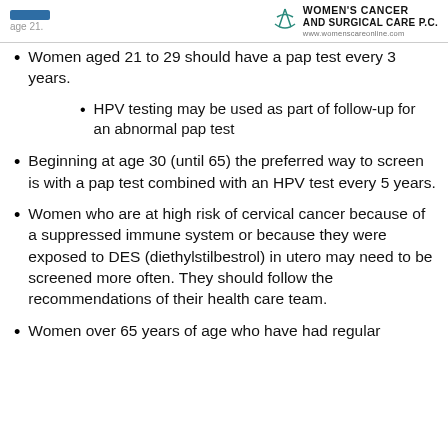age 21. WOMEN'S CANCER AND SURGICAL CARE P.C.
Women aged 21 to 29 should have a pap test every 3 years.
HPV testing may be used as part of follow-up for an abnormal pap test
Beginning at age 30 (until 65) the preferred way to screen is with a pap test combined with an HPV test every 5 years.
Women who are at high risk of cervical cancer because of a suppressed immune system or because they were exposed to DES (diethylstilbestrol) in utero may need to be screened more often. They should follow the recommendations of their health care team.
Women over 65 years of age who have had regular screenings in the previous 10 years...